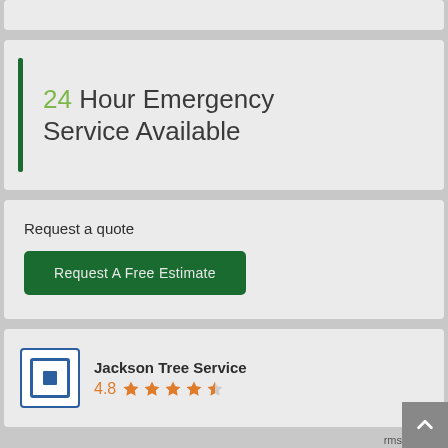24 Hour Emergency Service Available
Request a quote
Request A Free Estimate
Jackson Tree Service
4.8